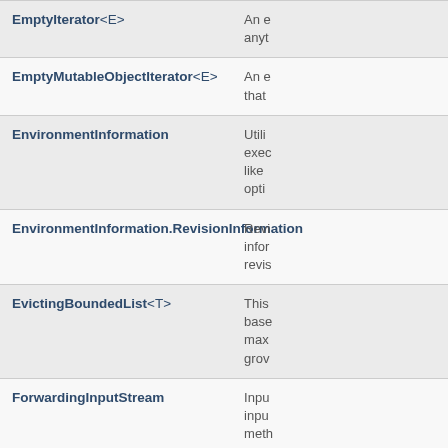| Class | Description |
| --- | --- |
| EmptyIterator<E> | An e... anyt... |
| EmptyMutableObjectIterator<E> | An e... that... |
| EnvironmentInformation | Utili... exec... like ... opti... |
| EnvironmentInformation.RevisionInformation | Revi... infor... revis... |
| EvictingBoundedList<T> | This ... base... max... grow... |
| ForwardingInputStream | Inpu... inpu... meth... |